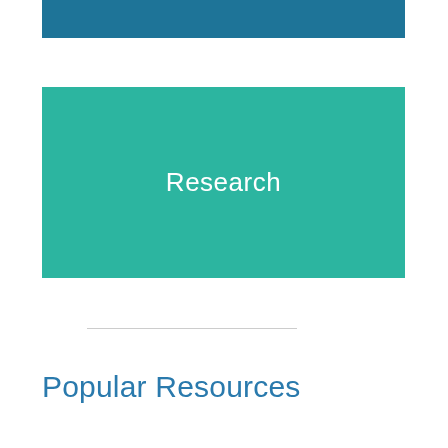[Figure (other): Teal/steel blue horizontal banner bar at the top of the page]
[Figure (other): Teal green rectangle with the word 'Research' centered in white text]
Popular Resources